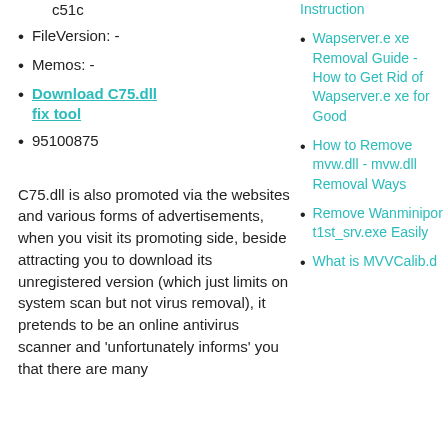c51c
FileVersion: -
Memos: -
Download C75.dll fix tool
95100875
Instruction
Wapserver.exe Removal Guide - How to Get Rid of Wapserver.exe for Good
How to Remove mvw.dll - mvw.dll Removal Ways
Remove Wanminiport1st_srv.exe Easily
What is MVVCalib.d
C75.dll is also promoted via the websites and various forms of advertisements, when you visit its promoting side, beside attracting you to download its unregistered version (which just limits on system scan but not virus removal), it pretends to be an online antivirus scanner and 'unfortunately informs' you that there are many